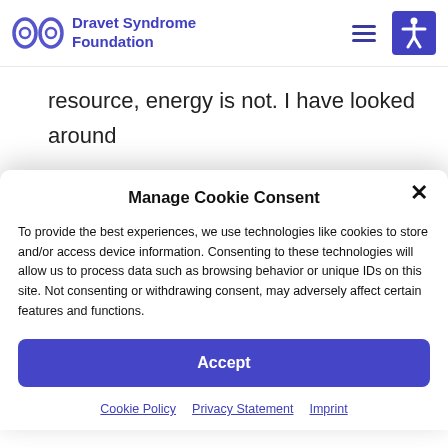[Figure (logo): Dravet Syndrome Foundation logo with blue infinity-like icon and text]
resource, energy is not. I have looked around some days, wondering how this chaos became my life. I have felt my nerves fraying
Manage Cookie Consent
To provide the best experiences, we use technologies like cookies to store and/or access device information. Consenting to these technologies will allow us to process data such as browsing behavior or unique IDs on this site. Not consenting or withdrawing consent, may adversely affect certain features and functions.
Accept
Cookie Policy   Privacy Statement   Imprint